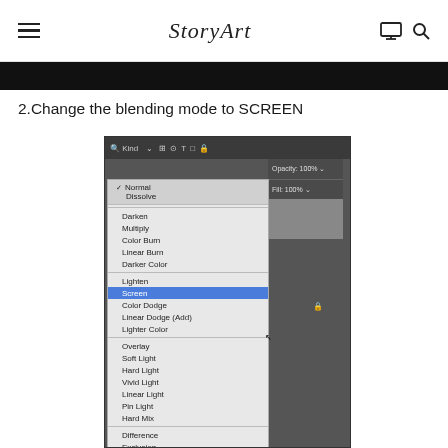StoryArt
[Figure (screenshot): Dark image strip at the top of the content area, partially visible]
2.Change the blending mode to SCREEN
[Figure (screenshot): Photoshop layers panel showing blending mode dropdown menu with Screen selected (highlighted in blue). Menu shows: Normal, Dissolve, Darken, Multiply, Color Burn, Linear Burn, Darker Color, Lighten, Screen (selected), Color Dodge, Linear Dodge (Add), Lighter Color, Overlay, Soft Light, Hard Light, Vivid Light, Linear Light, Pin Light, Hard Mix, Difference, Exclusion, Subtract, Divide, Hue, Saturation]